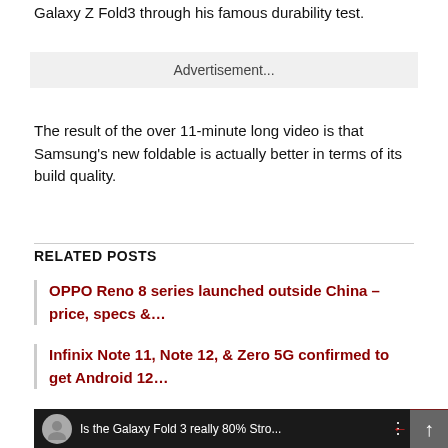Galaxy Z Fold3 through his famous durability test.
Advertisement...
The result of the over 11-minute long video is that Samsung's new foldable is actually better in terms of its build quality.
RELATED POSTS
OPPO Reno 8 series launched outside China – price, specs &…
Infinix Note 11, Note 12, & Zero 5G confirmed to get Android 12…
[Figure (screenshot): Video thumbnail showing 'Is the Galaxy Fold 3 really 80% Stro...' with a person avatar, colored pencils and phone in background, with a red arrow overlay and close button.]